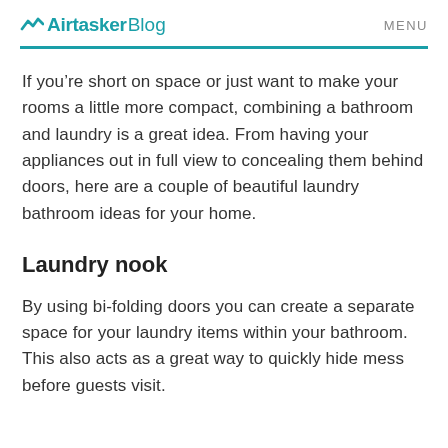Airtasker Blog  MENU
If you’re short on space or just want to make your rooms a little more compact, combining a bathroom and laundry is a great idea. From having your appliances out in full view to concealing them behind doors, here are a couple of beautiful laundry bathroom ideas for your home.
Laundry nook
By using bi-folding doors you can create a separate space for your laundry items within your bathroom. This also acts as a great way to quickly hide mess before guests visit.